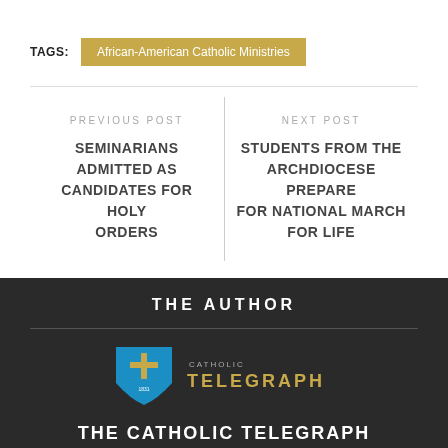TAGS: African-American Catholic Ministries
PREVIOUS POST
SEMINARIANS ADMITTED AS CANDIDATES FOR HOLY ORDERS
NEXT POST
STUDENTS FROM THE ARCHDIOCESE PREPARE FOR NATIONAL MARCH FOR LIFE
THE AUTHOR
[Figure (logo): The Catholic Telegraph shield logo with cross and text CATHOLIC TELEGRAPH]
THE CATHOLIC TELEGRAPH